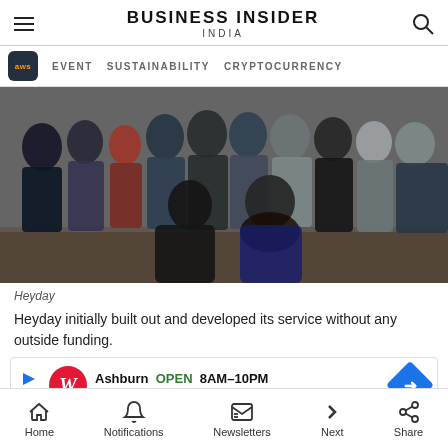BUSINESS INSIDER INDIA
EVENT   SUSTAINABILITY   CRYPTOCURRENCY
[Figure (photo): Group photo of the Heyday team, approximately 15 people standing and two women crouching in the front, taken indoors]
Heyday
Heyday initially built out and developed its service without any outside funding.
[Figure (other): Walgreens advertisement: Ashburn OPEN 8AM-10PM, 20321 Susan Leslie Dr, Ashburn]
Home   Notifications   Newsletters   Next   Share